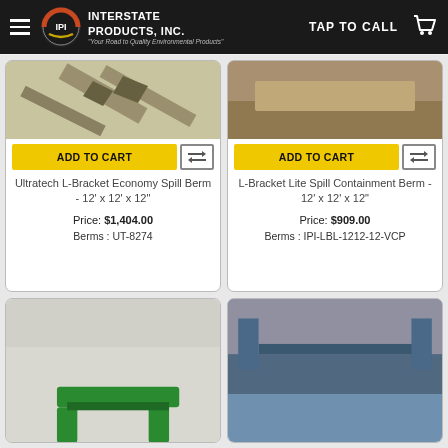Interstate Products, Inc. — TAP TO CALL
[Figure (photo): Product photo of pavement markings/aerial view for Ultratech L-Bracket Economy Spill Berm]
ADD TO CART
Ultratech L-Bracket Economy Spill Berm - 12' x 12' x 12"
Price: $1,404.00
Berms : UT-8274
[Figure (photo): Product photo of brownish floor surface for L-Bracket Lite Spill Containment Berm]
ADD TO CART
L-Bracket Lite Spill Containment Berm - 12' x 12' x 12"
Price: $909.00
Berms : IPI-LBL-1212-12-VCP
[Figure (photo): Product photo of green spill berm containment equipment]
[Figure (photo): Product photo of blue spill containment berm installed]